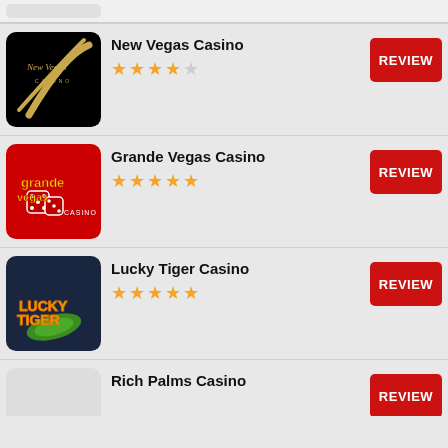[Figure (screenshot): Partial top card - casino listing item cut off at top]
New Vegas Casino
[Figure (logo): New Vegas Casino logo - black background with gold cursive script and lines]
REVIEW
Grande Vegas Casino
[Figure (logo): Grande Vegas Casino logo - red background with dice and gold/red text]
REVIEW
Lucky Tiger Casino
[Figure (logo): Lucky Tiger Casino logo - dark navy background with yellow/orange text and green leaf]
REVIEW
Rich Palms Casino
REVIEW